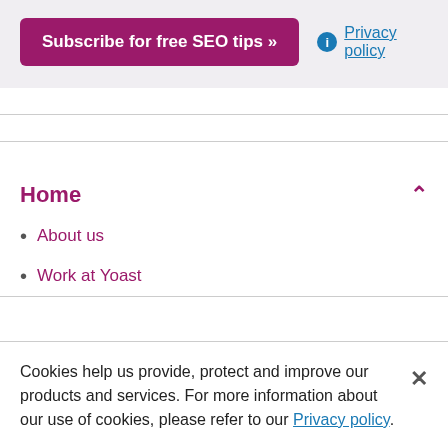[Figure (other): Subscribe button (purple/magenta rounded rectangle) with text 'Subscribe for free SEO tips »' and a Privacy policy link with an info icon]
Home
About us
Work at Yoast
Cookies help us provide, protect and improve our products and services. For more information about our use of cookies, please refer to our Privacy policy.